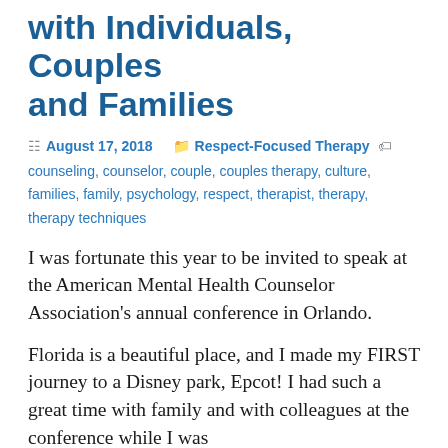with Individuals, Couples and Families
August 17, 2018   Respect-Focused Therapy   counseling, counselor, couple, couples therapy, culture, families, family, psychology, respect, therapist, therapy, therapy techniques
I was fortunate this year to be invited to speak at the American Mental Health Counselor Association's annual conference in Orlando.
Florida is a beautiful place, and I made my FIRST journey to a Disney park, Epcot! I had such a great time with family and with colleagues at the conference while I was